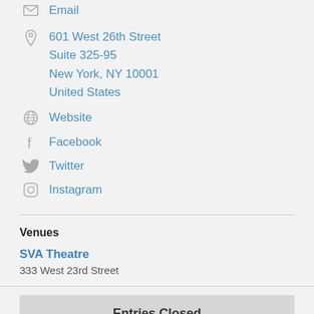Email
601 West 26th Street
Suite 325-95
New York, NY 10001
United States
Website
Facebook
Twitter
Instagram
Venues
SVA Theatre
333 West 23rd Street
Entries Closed